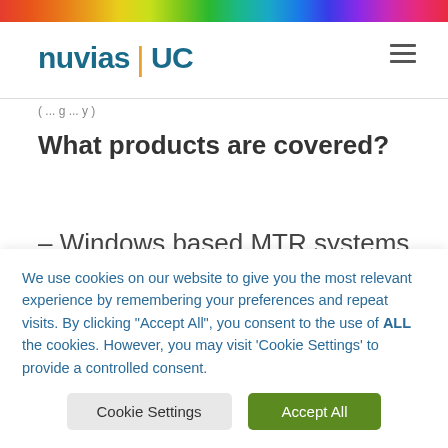[Figure (other): Rainbow gradient decorative header bar]
[Figure (logo): Nuvias UC logo with teal text and orange divider]
( ... g ... y )
What products are covered?
– Windows based MTR systems &
We use cookies on our website to give you the most relevant experience by remembering your preferences and repeat visits. By clicking "Accept All", you consent to the use of ALL the cookies. However, you may visit 'Cookie Settings' to provide a controlled consent.
Cookie Settings | Accept All